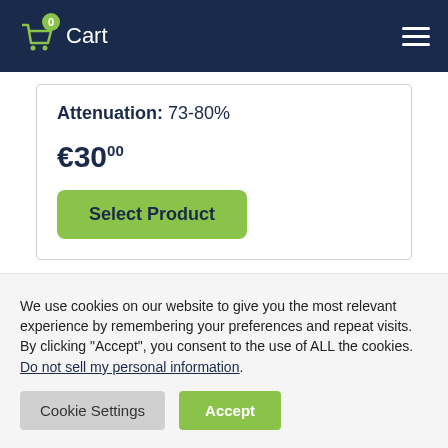Cart
Attenuation: 73-80%
€30.00
Select Product
We use cookies on our website to give you the most relevant experience by remembering your preferences and repeat visits. By clicking "Accept", you consent to the use of ALL the cookies. Do not sell my personal information.
Cookie Settings
Accept